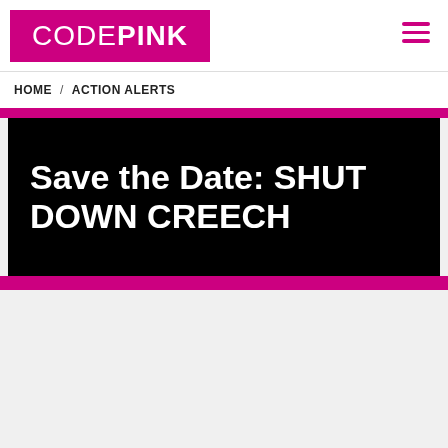CODEPINK
HOME / ACTION ALERTS
Save the Date: SHUT DOWN CREECH
[Figure (photo): Group of activists dressed in pink, holding a banner that reads 'War Serves the 1% $$$ OCCUPY ... Serve', standing outdoors in a desert setting with mountains in the background. A pink umbrella is visible. Social media sharing icons (Twitter, Facebook, Email, WhatsApp, LinkedIn) are on the left side.]